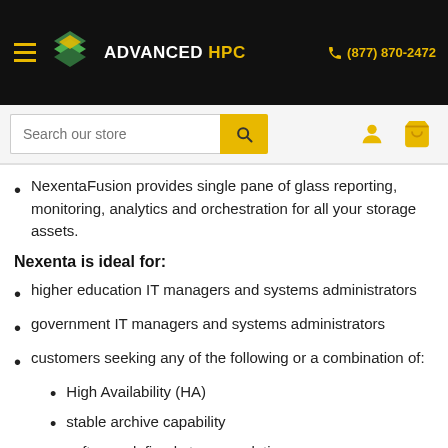ADVANCED HPC | (877) 870-2472
NexentaFusion provides single pane of glass reporting, monitoring, analytics and orchestration for all your storage assets.
Nexenta is ideal for:
higher education IT managers and systems administrators
government IT managers and systems administrators
customers seeking any of the following or a combination of:
High Availability (HA)
stable archive capability
software-defined storage solutions